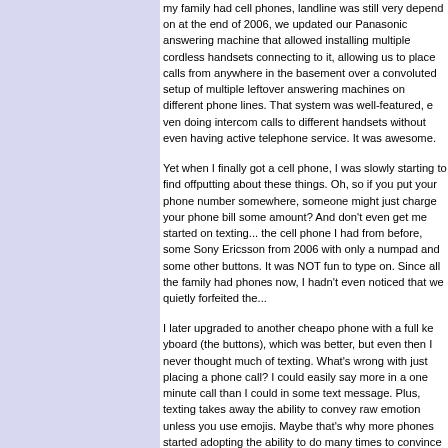my family had cell phones, landline was still very depe... end of 2006, we updated our Panasonic answering ma... allowed installing multiple cordless handsets connectin... allowing us to place calls from anywhere in the baseme... convoluted setup of multiple leftover answering machin... different phone lines. That system was well-featured, e... intercom calls to different handsets without even havin... telephone service. It was awesome.
Yet when I finally got a cell phone, I was slowly starting... offputting about these things. Oh, so if you put your ph... somewhere, someone might just charge your phone bi... And don't even get me started on texting... the cell pho... from before, some Sony Ericsson from 2006 with only a... some other buttons. It was NOT fun to type on. Since a... phones now, I hadn't even noticed that we quietly forfei...
I later upgraded to another cheapo phone with a full ke... buttons), which was better, but even then I never thoug... What's wrong with just placing a phone call? I could ea... one minute call than I could in some text message. Plu... takes away the ability to convey raw emotion unless yo... Maybe that's why more phones started adopting the ab... times to convince others you're really laughing.
Isn't it something, how much more frequently people bu... than they used to? It could take many years for us to m... the next back in the landline days, especially when an a... brought into question. Whenever we did, there was a c... function, as was the case with the aforementioned ans... multiple handsets. Compare that to the three cell phon... three years. Two of them broke by my own hand, I'll giv... got shorted in the washing machine because I forgot t...